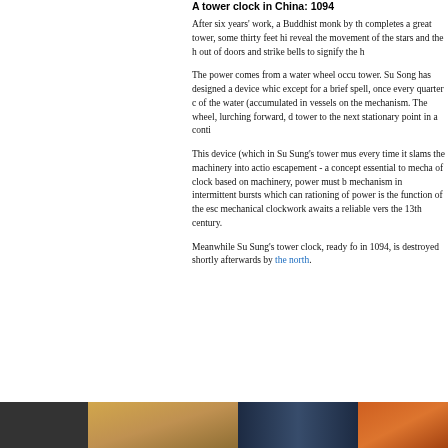A tower clock in China: 1094
After six years' work, a Buddhist monk by th completes a great tower, some thirty feet hi reveal the movement of the stars and the h out of doors and strike bells to signify the h
The power comes from a water wheel occu tower. Su Song has designed a device whic except for a brief spell, once every quarter of the water (accumulated in vessels on the mechanism. The wheel, lurching forward, d tower to the next stationary point in a conti
This device (which in Su Sung's tower mus every time it slams the machinery into actio escapement - a concept essential to mecha of clock based on machinery, power must b mechanism in intermittent bursts which can rationing of power is the function of the esc mechanical clockwork awaits a reliable vers the 13th century.
Meanwhile Su Sung's tower clock, ready fo in 1094, is destroyed shortly afterwards by the north.
[Figure (photo): A decorative image strip at the bottom of the page showing what appears to be golden/warm toned imagery on the left, dark blue tones in the center, and orange/amber tones on the right.]